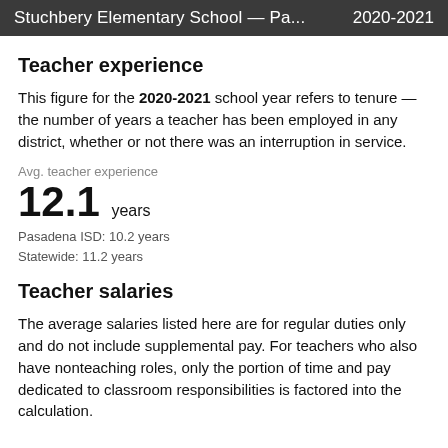Stuchbery Elementary School — Pa...    2020-2021
Teacher experience
This figure for the 2020-2021 school year refers to tenure — the number of years a teacher has been employed in any district, whether or not there was an interruption in service.
Avg. teacher experience
12.1 years
Pasadena ISD: 10.2 years
Statewide: 11.2 years
Teacher salaries
The average salaries listed here are for regular duties only and do not include supplemental pay. For teachers who also have nonteaching roles, only the portion of time and pay dedicated to classroom responsibilities is factored into the calculation.